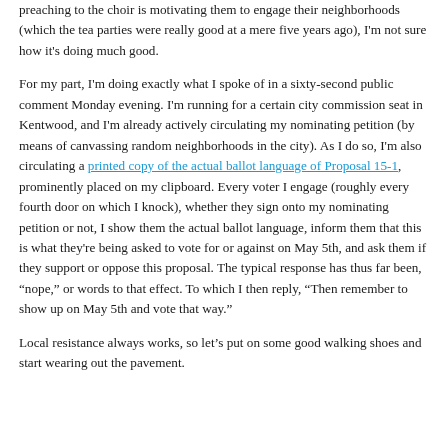preaching to the choir is motivating them to engage their neighborhoods (which the tea parties were really good at a mere five years ago), I'm not sure how it's doing much good.
For my part, I'm doing exactly what I spoke of in a sixty-second public comment Monday evening. I'm running for a certain city commission seat in Kentwood, and I'm already actively circulating my nominating petition (by means of canvassing random neighborhoods in the city). As I do so, I'm also circulating a printed copy of the actual ballot language of Proposal 15-1, prominently placed on my clipboard. Every voter I engage (roughly every fourth door on which I knock), whether they sign onto my nominating petition or not, I show them the actual ballot language, inform them that this is what they're being asked to vote for or against on May 5th, and ask them if they support or oppose this proposal. The typical response has thus far been, “nope,” or words to that effect. To which I then reply, “Then remember to show up on May 5th and vote that way.”
Local resistance always works, so let’s put on some good walking shoes and start wearing out the pavement.